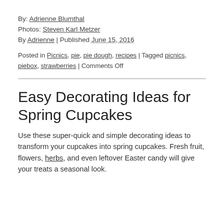By: Adrienne Blumthal
Photos: Steven Karl Metzer
By Adrienne | Published June 15, 2016
Posted in Picnics, pie, pie dough, recipes | Tagged picnics, piebox, strawberries | Comments Off
Easy Decorating Ideas for Spring Cupcakes
Use these super-quick and simple decorating ideas to transform your cupcakes into spring cupcakes. Fresh fruit, flowers, herbs, and even leftover Easter candy will give your treats a seasonal look.